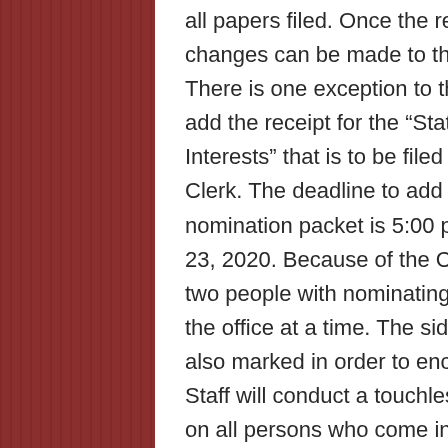all papers filed. Once the receipt is issued, no changes can be made to the nomination packet. There is one exception to this rule: A candidate may add the receipt for the “Statement of Economic Interests” that is to be filed with the Kane County Clerk. The deadline to add this receipt to your nomination packet is 5:00 p.m. on Monday, November 23, 2020. Because of the COVID-19 pandemic, only two people with nominating petitions will be allowed in the office at a time. The sidewalk outside the office is also marked in order to encouraging social distancing. Staff will conduct a touchless temperature screening on all persons who come in the office and